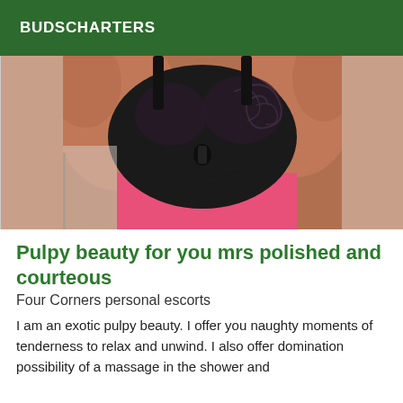BUDSCHARTERS
[Figure (photo): Close-up photo of a person wearing black lace lingerie with pink background]
Pulpy beauty for you mrs polished and courteous
Four Corners personal escorts
I am an exotic pulpy beauty. I offer you naughty moments of tenderness to relax and unwind. I also offer domination possibility of a massage in the shower and